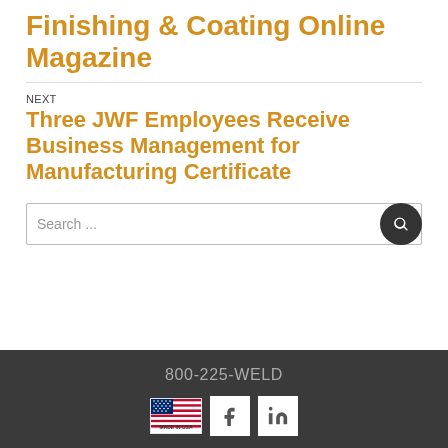Finishing & Coating Online Magazine
NEXT
Three JWF Employees Receive Business Management for Manufacturing Certificate
Search ...
800-225-WELD